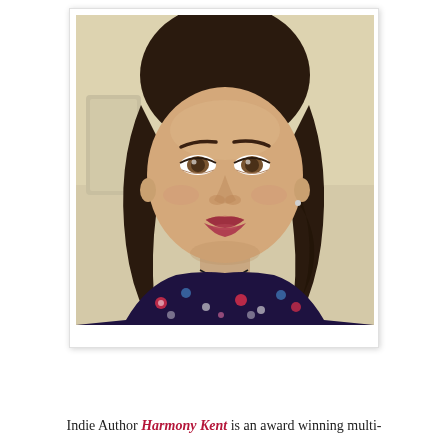[Figure (photo): Portrait photograph of a woman with dark curly hair, wearing a dark floral top and a necklace, looking slightly upward at the camera. The photo is presented with a white polaroid-style border/mat.]
Indie Author Harmony Kent is an award winning multi-